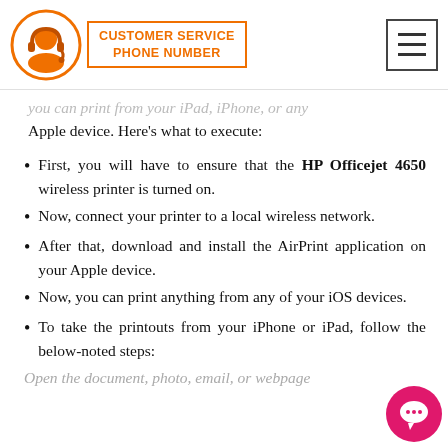[Figure (logo): Customer Service Phone Number logo with orange headset icon in circle and orange bordered text badge]
you can print from your iPad, iPhone, or any Apple device. Here's what to execute:
First, you will have to ensure that the HP Officejet 4650 wireless printer is turned on.
Now, connect your printer to a local wireless network.
After that, download and install the AirPrint application on your Apple device.
Now, you can print anything from any of your iOS devices.
To take the printouts from your iPhone or iPad, follow the below-noted steps:
Open the document, photo, email, or webpage...